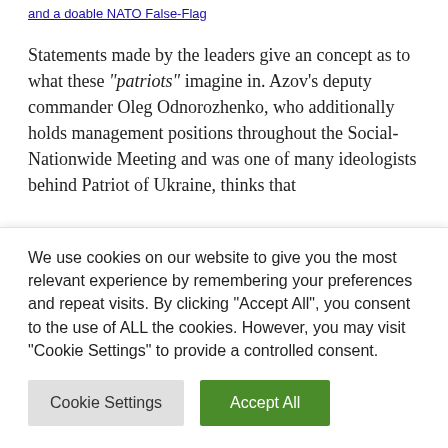and a doable NATO False-Flag
Statements made by the leaders give an concept as to what these “patriots” imagine in. Azov’s deputy commander Oleg Odnorozhenko, who additionally holds management positions throughout the Social-Nationwide Meeting and was one of many ideologists behind Patriot of Ukraine, thinks that
We use cookies on our website to give you the most relevant experience by remembering your preferences and repeat visits. By clicking “Accept All”, you consent to the use of ALL the cookies. However, you may visit "Cookie Settings" to provide a controlled consent.
Cookie Settings
Accept All